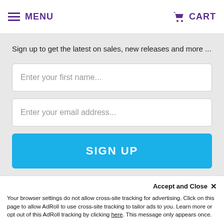MENU  CART
News & Updates
Sign up to get the latest on sales, new releases and more ...
Enter your first name...
Enter your email address...
SIGN UP
© 2022 Paleo Treats® | Privacy Policy
[Figure (other): Payment icons: VISA, Mastercard, American Express, Discover]
Accept and Close ✕
Your browser settings do not allow cross-site tracking for advertising. Click on this page to allow AdRoll to use cross-site tracking to tailor ads to you. Learn more or opt out of this AdRoll tracking by clicking here. This message only appears once.